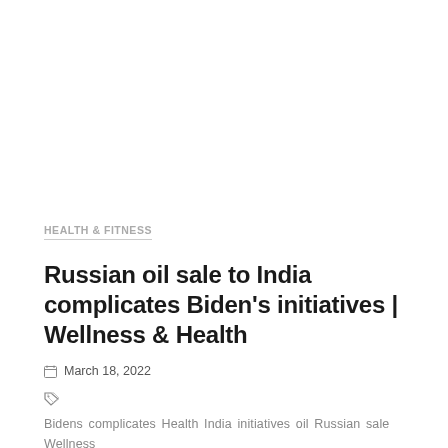HEALTH & FITNESS
Russian oil sale to India complicates Biden's initiatives | Wellness & Health
March 18, 2022
Bidens  complicates  Health  India  initiatives  oil  Russian  sale  Wellness
View More »